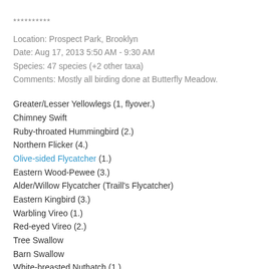**********
Location: Prospect Park, Brooklyn
Date: Aug 17, 2013 5:50 AM - 9:30 AM
Species: 47 species (+2 other taxa)
Comments: Mostly all birding done at Butterfly Meadow.
Greater/Lesser Yellowlegs (1, flyover.)
Chimney Swift
Ruby-throated Hummingbird (2.)
Northern Flicker (4.)
Olive-sided Flycatcher (1.)
Eastern Wood-Pewee (3.)
Alder/Willow Flycatcher (Traill's Flycatcher)
Eastern Kingbird (3.)
Warbling Vireo (1.)
Red-eyed Vireo (2.)
Tree Swallow
Barn Swallow
White-breasted Nuthatch (1.)
House Wren (4.)